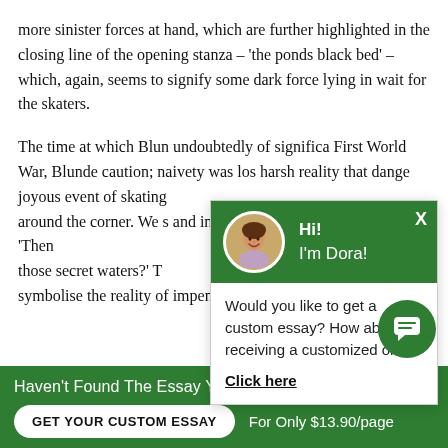more sinister forces at hand, which are further highlighted in the closing line of the opening stanza – 'the ponds black bed' – which, again, seems to signify some dark force lying in wait for the skaters.
The time at which Blun… undoubtedly of significa… First World War, Blunde… caution; naivety was los… harsh reality that dange… joyous event of skating … around the corner. We s… and indeed suspicion, i… second stanza – 'Then … those secret waters?' T… symbolise the reality of impending deathin wa…
[Figure (other): Chat popup widget with green header showing avatar photo of a woman and greeting 'Hi! I'm Dora!', body text 'Would you like to get a custom essay? How about receiving a customized one?' and a bold underlined 'Click here' link.]
[Figure (other): Floating green circular chat button with message icon in bottom right.]
Haven't Found The Essay You Want?
GET YOUR CUSTOM ESSAY
For Only $13.90/page